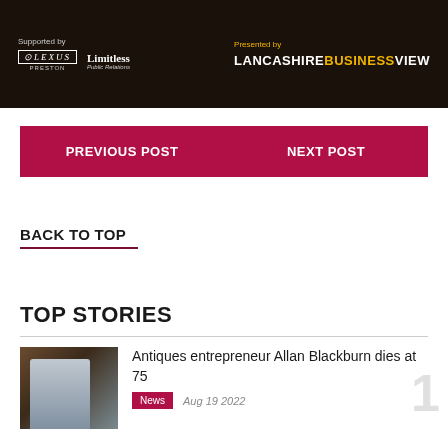[Figure (photo): Dark banner image with sponsor logos: Lexus Preston, Limitless Public Relations on left; Presented by Lancashire Business View on right]
PREVIOUS POST
NEXT POST
BACK TO TOP
TOP STORIES
[Figure (photo): Thumbnail photo of man in antiques shop with old items]
Antiques entrepreneur Allan Blackburn dies at 75
News
Aug 19 2022